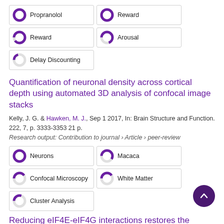Propranolol (100%)
Reward (100%)
Delay Discounting (~20%)
Reward (100%)
Arousal (~70%)
Quantification of neuronal density across cortical depth using automated 3D analysis of confocal image stacks
Kelly, J. G. & Hawken, M. J., Sep 1 2017, In: Brain Structure and Function. 222, 7, p. 3333-3353 21 p.
Research output: Contribution to journal › Article › peer-review
Neurons (100%)
Macaca (~60%)
Confocal Microscopy (~40%)
White Matter (~40%)
Cluster Analysis (~30%)
Reducing eIF4E-eIF4G interactions restores the